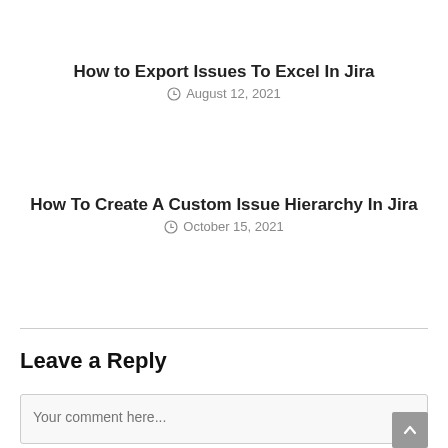How to Export Issues To Excel In Jira
August 12, 2021
How To Create A Custom Issue Hierarchy In Jira
October 15, 2021
Leave a Reply
Your comment here...